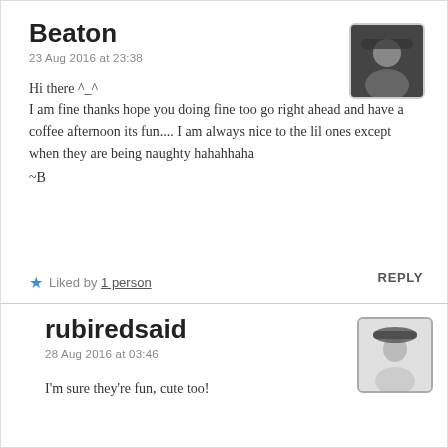Beaton
23 Aug 2016 at 23:38
Hi there ^_^
I am fine thanks hope you doing fine too go right ahead and have a coffee afternoon its fun.... I am always nice to the lil ones except when they are being naughty hahahhaha
~B
Liked by 1 person   REPLY
rubiredsaid
28 Aug 2016 at 03:46
I'm sure they're fun, cute too!